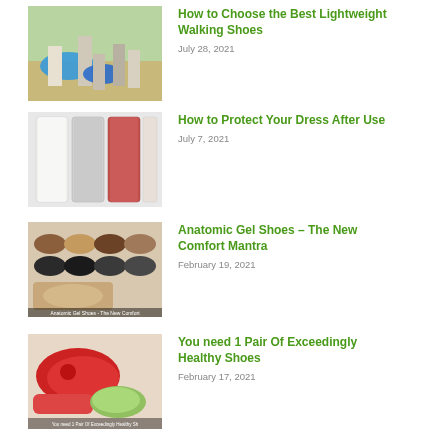[Figure (photo): Person walking with blue sneakers on path]
How to Choose the Best Lightweight Walking Shoes
July 28, 2021
[Figure (photo): Dress bags and garment covers hanging]
How to Protect Your Dress After Use
July 7, 2021
[Figure (photo): Multiple pairs of loafer shoes displayed with gel insole, Anatomic Gel Shoes article thumbnail]
Anatomic Gel Shoes – The New Comfort Mantra
February 19, 2021
[Figure (photo): Red athletic shoes and healthy shoes article thumbnail]
You need 1 Pair Of Exceedingly Healthy Shoes
February 17, 2021